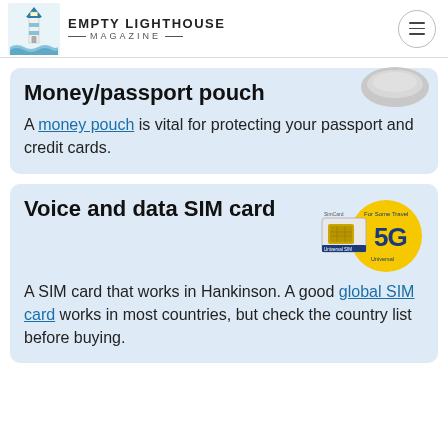EMPTY LIGHTHOUSE MAGAZINE
Money/passport pouch
A money pouch is vital for protecting your passport and credit cards.
[Figure (photo): Money/passport pouch product image (partially visible at top right of card)]
Voice and data SIM card
A SIM card that works in Hankinson. A good global SIM card works in most countries, but check the country list before buying.
[Figure (photo): 5G Universal SIM card with gold chip, yellow and blue circular packaging]